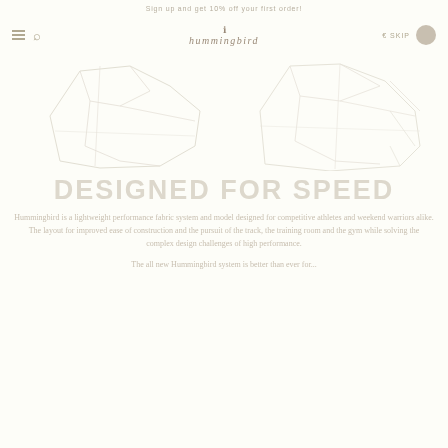Sign up and get 10% off your first order!
[Figure (logo): Hummingbird logo with bird icon and brand name in italic script]
[Figure (photo): Two product sketches/outlines — left: a stylized shoe or garment outline, right: another product outline — both rendered in light gray on cream background]
DESIGNED FOR SPEED
Hummingbird is a lightweight performance fabric system and model designed for competitive athletes and weekend warriors alike. The layout for improved ease of construction and the pursuit of the track, the training room and the gym while solving the complex design challenges of high performance.
The all new Hummingbird system is better than ever for...